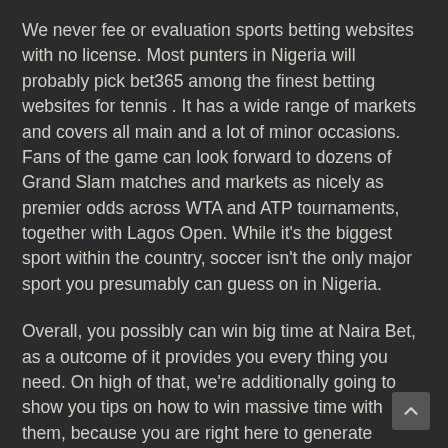We never fee or evaluation sports betting websites with no license. Most punters in Nigeria will probably pick bet365 among the finest betting websites for tennis . It has a wide range of markets and covers all main and a lot of minor occasions. Fans of the game can look forward to dozens of Grand Slam matches and markets as nicely as premier odds across WTA and ATP tournaments, together with Lagos Open. While it's the biggest sport within the country, soccer isn't the only major sport you presumably can guess on in Nigeria.
Overall, you possibly can win big time at Naira Bet, as a outcome of it provides you every thing you need. On high of that, we're additionally going to show you tips on how to win massive time with them, because you are right here to generate income, and that's precisely what we'll share with you. Use a licensed and regulated web site – should you use a regulated web site, you might be assured that its operations are transparent and honest.
The web provided the wanted enabling surroundings for artistic and progressive options certainly one of which is on-line betting. Significantly, on-line gambling opened potential bettors to the potential of staking on their favourite sports in a quest to earn